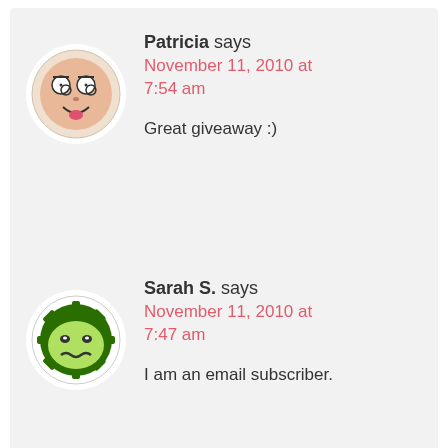[Figure (illustration): Circular avatar with white background showing a cartoon smiley face with swirly eyes and tongue out]
Patricia says
November 11, 2010 at 7:54 am
Great giveaway :)
[Figure (illustration): Circular avatar with white background showing a dark green gear/cog shaped cartoon character with a green face]
Sarah S. says
November 11, 2010 at 7:47 am
I am an email subscriber.